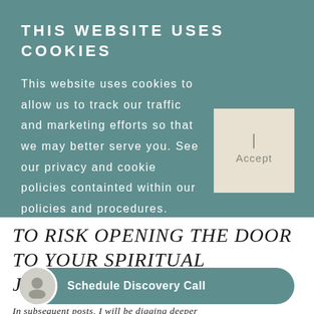THIS WEBSITE USES COOKIES
This website uses cookies to allow us to track our traffic and marketing efforts so that we may better serve you. See our privacy and cookie policies containted within our policies and procedures.
I Accept
TO RISK OPENING THE DOOR TO YOUR SPIRITUAL JOURNEY?
In subsequent posts, I will be digging deeper into how a spiritual... you specifically how... to the great Mystery. There are tools and techniques
Schedule Discovery Call